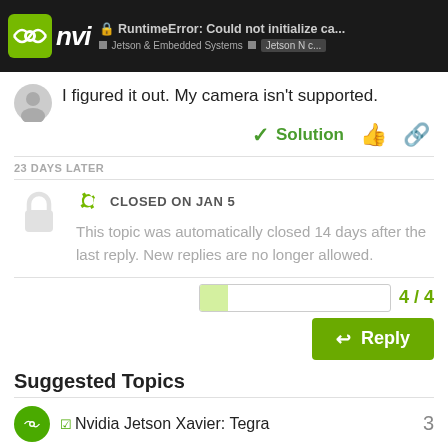RuntimeError: Could not initialize ca... | Jetson & Embedded Systems | Jetson N c...
I figured it out. My camera isn't supported.
✓ Solution
23 DAYS LATER
CLOSED ON JAN 5
This topic was automatically closed 14 days after the last reply. New replies are no longer allowed.
4 / 4
Reply
Suggested Topics
Nvidia Jetson Xavier: Tegra